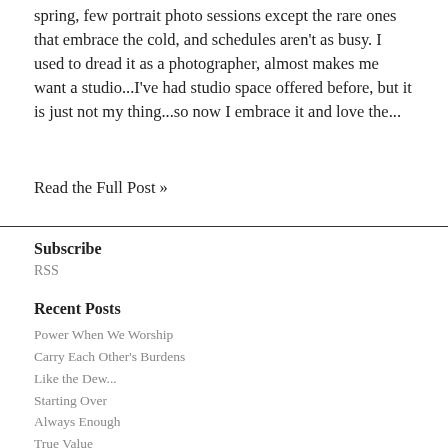spring, few portrait photo sessions except the rare ones that embrace the cold, and schedules aren't as busy. I used to dread it as a photographer, almost makes me want a studio...I've had studio space offered before, but it is just not my thing...so now I embrace it and love the...
Read the Full Post »
Subscribe
RSS
Recent Posts
Power When We Worship
Carry Each Other's Burdens
Like the Dew...
Starting Over
Always Enough
True Value
Into the Wilderness